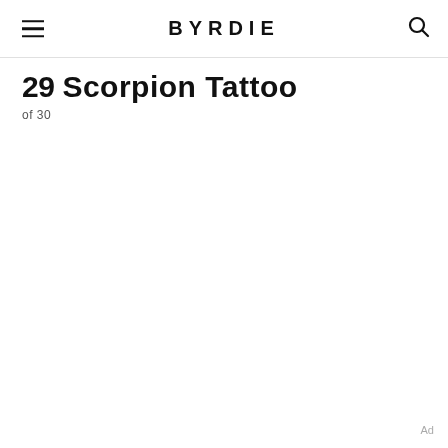BYRDIE
29 Scorpion Tattoo
of 30
Ad